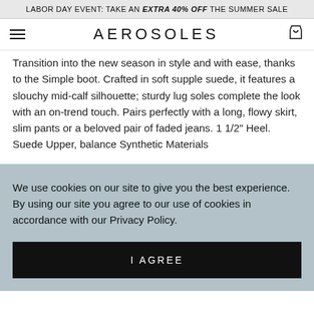LABOR DAY EVENT: TAKE AN EXTRA 40% OFF THE SUMMER SALE
AEROSOLES
Transition into the new season in style and with ease, thanks to the Simple boot. Crafted in soft supple suede, it features a slouchy mid-calf silhouette; sturdy lug soles complete the look with an on-trend touch. Pairs perfectly with a long, flowy skirt, slim pants or a beloved pair of faded jeans. 1 1/2" Heel. Suede Upper, balance Synthetic Materials
We use cookies on our site to give you the best experience. By using our site you agree to our use of cookies in accordance with our Privacy Policy.
I AGREE